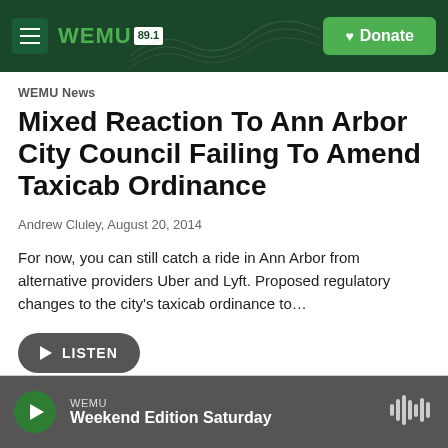WEMU 89.1 | Donate
WEMU News
Mixed Reaction To Ann Arbor City Council Failing To Amend Taxicab Ordinance
Andrew Cluley,  August 20, 2014
For now, you can still catch a ride in Ann Arbor from alternative providers Uber and Lyft. Proposed regulatory changes to the city's taxicab ordinance to…
▶ LISTEN
WEMU Weekend Edition Saturday